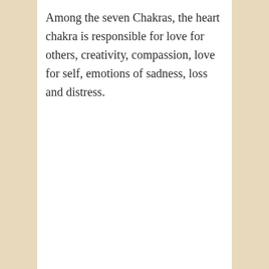Among the seven Chakras, the heart chakra is responsible for love for others, creativity, compassion, love for self, emotions of sadness, loss and distress.